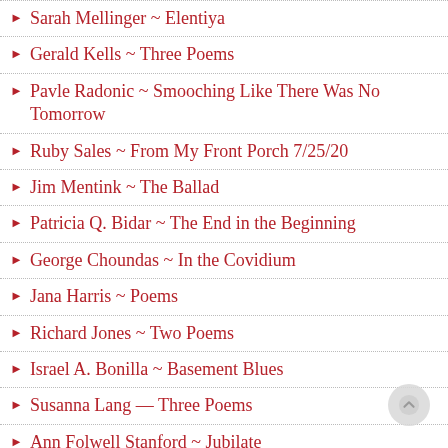Sarah Mellinger ~ Elentiya
Gerald Kells ~ Three Poems
Pavle Radonic ~ Smooching Like There Was No Tomorrow
Ruby Sales ~ From My Front Porch 7/25/20
Jim Mentink ~ The Ballad
Patricia Q. Bidar ~ The End in the Beginning
George Choundas ~ In the Covidium
Jana Harris ~ Poems
Richard Jones ~ Two Poems
Israel A. Bonilla ~ Basement Blues
Susanna Lang — Three Poems
Ann Folwell Stanford ~ Jubilate